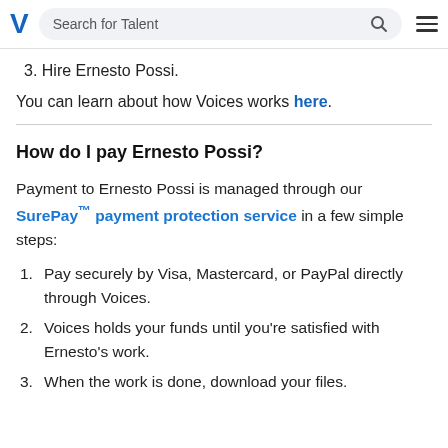Search for Talent
3. Hire Ernesto Possi.
You can learn about how Voices works here.
How do I pay Ernesto Possi?
Payment to Ernesto Possi is managed through our SurePay™ payment protection service in a few simple steps:
1. Pay securely by Visa, Mastercard, or PayPal directly through Voices.
2. Voices holds your funds until you're satisfied with Ernesto's work.
3. When the work is done, download your files.